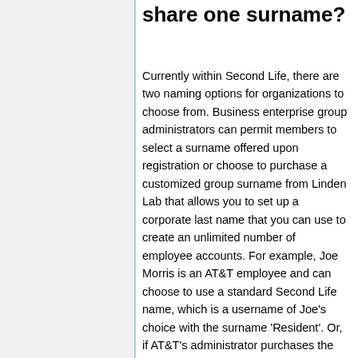share one surname?
Currently within Second Life, there are two naming options for organizations to choose from. Business enterprise group administrators can permit members to select a surname offered upon registration or choose to purchase a customized group surname from Linden Lab that allows you to set up a corporate last name that you can use to create an unlimited number of employee accounts. For example, Joe Morris is an AT&T employee and can choose to use a standard Second Life name, which is a username of Joe's choice with the surname 'Resident'. Or, if AT&T's administrator purchases the corporate last names option, then Joe Morris have the name of Joe AT&T, to help create a